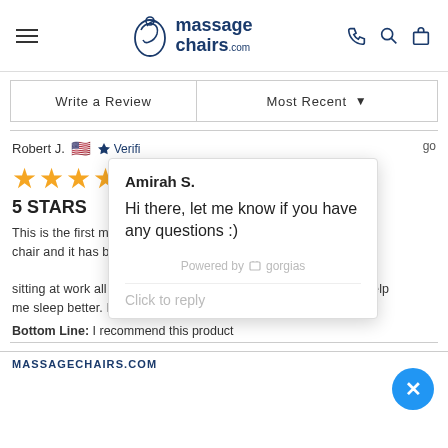massagechairs.com
Write a Review  |  Most Recent
Robert J.  Verified
[Figure (other): Five gold star rating]
5 STARS
This is the first massage chair and it has been w... sitting at work all day and this totally works to loosen it up and help me sleep better. I feel 20 years younger!
Bottom Line: I recommend this product
[Figure (screenshot): Chat popup from Amirah S. saying: Hi there, let me know if you have any questions :) Powered by gorgias. Click to reply.]
MASSAGECHAIRS.COM